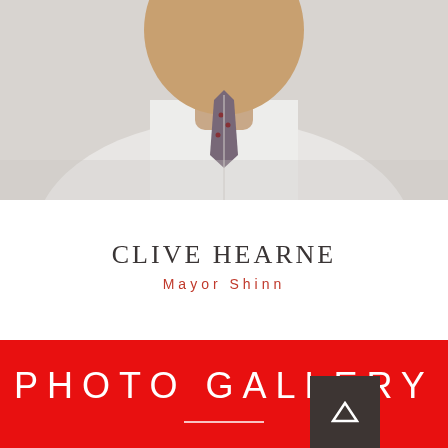[Figure (photo): Cropped portrait photo of Clive Hearne showing the lower face/chin area, wearing a white shirt and grey patterned tie. The photo is a close-up head-and-shoulders shot with a light background.]
CLIVE HEARNE
Mayor Shinn
PHOTO GALLERY